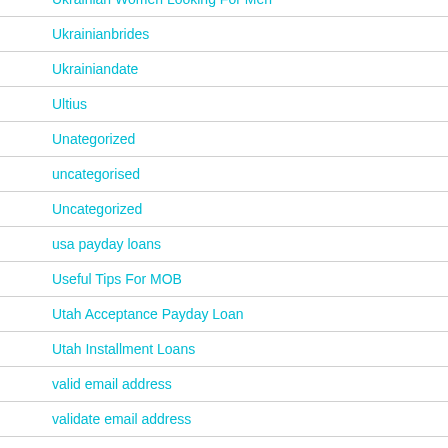Ukrainian Women Looking For Men
Ukrainianbrides
Ukrainiandate
Ultius
Unategorized
uncategorised
Uncategorized
usa payday loans
Useful Tips For MOB
Utah Acceptance Payday Loan
Utah Installment Loans
valid email address
validate email address